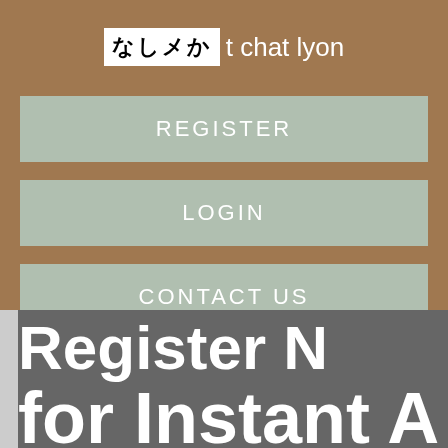なしメか t chat lyon
REGISTER
LOGIN
CONTACT US
Register N...
for Instant A...